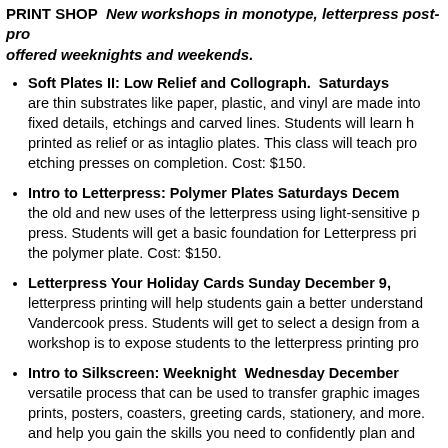PRINT SHOP  New workshops in monotype, letterpress post-pro offered weeknights and weekends.
Soft Plates II: Low Relief and Collograph. Saturdays are thin substrates like paper, plastic, and vinyl are made into fixed details, etchings and carved lines. Students will learn h printed as relief or as intaglio plates. This class will teach pro etching presses on completion. Cost: $150.
Intro to Letterpress: Polymer Plates Saturdays Decem the old and new uses of the letterpress using light-sensitive p press. Students will get a basic foundation for Letterpress pri the polymer plate. Cost: $150.
Letterpress Your Holiday Cards Sunday December 9, letterpress printing will help students gain a better understand Vandercook press. Students will get to select a design from a workshop is to expose students to the letterpress printing pro
Intro to Silkscreen: Weeknight Wednesday December versatile process that can be used to transfer graphic images prints, posters, coasters, greeting cards, stationery, and more. and help you gain the skills you need to confidently plan and
Advanced: Graphic Letterpress, Saturday December in love with this unique hand typesetting class. Graphic Lette